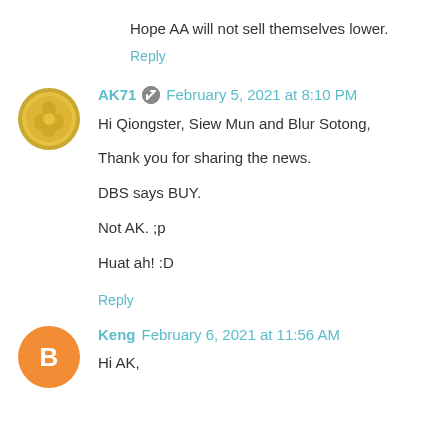Hope AA will not sell themselves lower.
Reply
AK71 · February 5, 2021 at 8:10 PM
Hi Qiongster, Siew Mun and Blur Sotong,

Thank you for sharing the news.

DBS says BUY.

Not AK. ;p

Huat ah! :D
Reply
Keng February 6, 2021 at 11:56 AM
Hi AK,